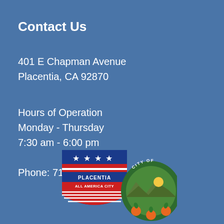Contact Us
401 E Chapman Avenue
Placentia, CA 92870
Hours of Operation
Monday - Thursday
7:30 am - 6:00 pm
Phone: 714-993-8117
[Figure (logo): City of Placentia logo with All America City shield badge and city seal showing orange, mountains, and sun]